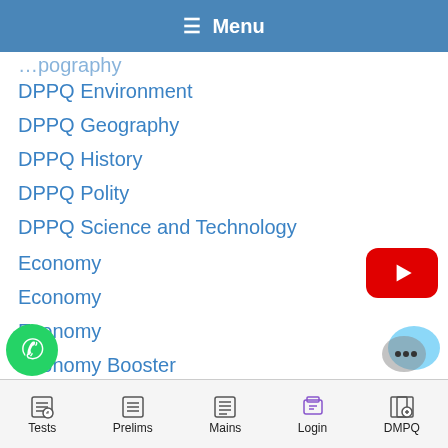☰ Menu
DPPQ Environment
DPPQ Geography
DPPQ History
DPPQ Polity
DPPQ Science and Technology
Economy
Economy
Economy
Economy Booster
Economy of Rajasthan
Education
[Figure (logo): YouTube play button logo in red]
[Figure (logo): WhatsApp green phone icon]
[Figure (logo): Chat/messaging icon with dots]
Tests | Prelims | Mains | Login | DMPQ